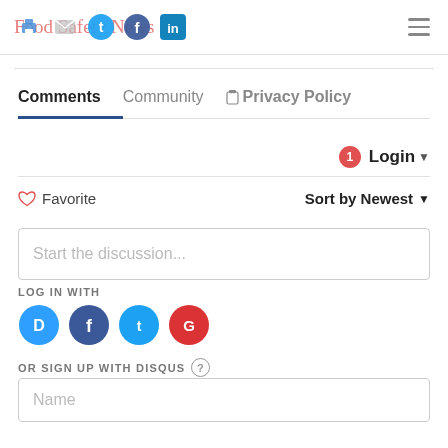Food Safety News
[Figure (screenshot): Share icons: print, email, Twitter, Facebook, LinkedIn; hamburger menu top right]
Comments  Community  Privacy Policy
Login
Favorite  Sort by Newest
Start the discussion...
LOG IN WITH
[Figure (screenshot): Social login icons: Disqus (blue), Facebook (dark blue), Twitter (light blue), Google (red)]
OR SIGN UP WITH DISQUS
Name